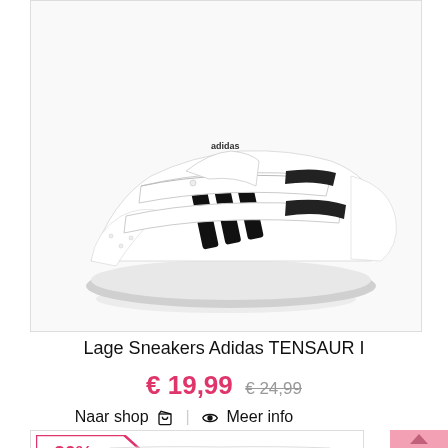[Figure (photo): White Adidas TENSAUR I baby sneaker with black three stripes and velcro straps, on white background inside a bordered box]
Lage Sneakers Adidas TENSAUR I
€ 19,99 € 24,99
Naar shop 🛒 | 👁 Meer info
[Figure (photo): Second product listing showing partial view of a black and white Adidas shoe at the bottom of the page, with a -20% discount badge]